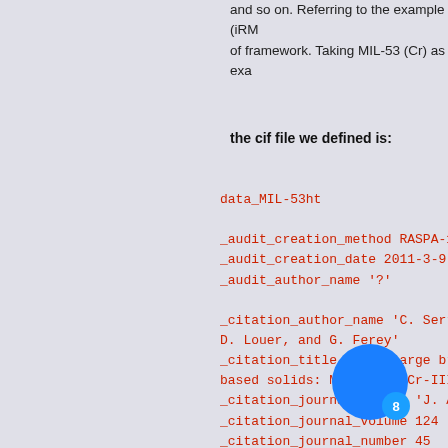and so on. Referring to the example (iRM of framework. Taking MIL-53 (Cr) as exa
the cif file we defined is:
data_MIL-53ht

_audit_creation_method RASPA-1.0
_audit_creation_date 2011-3-9
_audit_author_name '?'

_citation_author_name      'C. Serre, F. M D. Louer, and G. Ferey'
_citation_title            'Very large breathin based solids: MIL-53 or Cr-III(OH).{O2C-C
_citation_journal_abbrev   'J. Am. Chem.
_citation_journal_volume   124
_citation_journal_number   45
_citation_page_first       13519
_citation_page_last        13526
_citation_year             2002

_cell_length_a   16.733
_cell_length_b   13.038
_cell_length_c   6.812